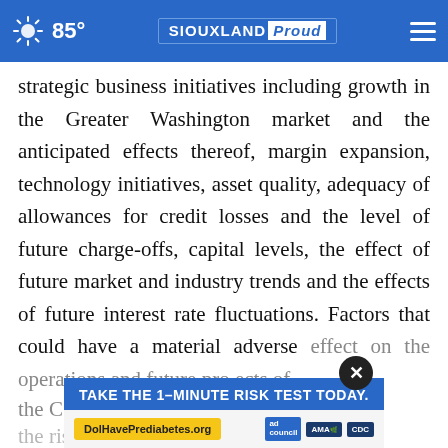85° | SIOUXLAND Proud
strategic business initiatives including growth in the Greater Washington market and the anticipated effects thereof, margin expansion, technology initiatives, asset quality, adequacy of allowances for credit losses and the level of future charge-offs, capital levels, the effect of future market and industry trends and the effects of future interest rate fluctuations. Factors that could have a material adverse effect on the operations and future prospects of the Co          o: (1) the risk that the cost savings, any revenue
[Figure (screenshot): Advertisement banner: 'TAKE THE 1-MINUTE RISK TEST TODAY.' with DolHavePrediabetes.org and logos for ad council, AMA, and CDC]